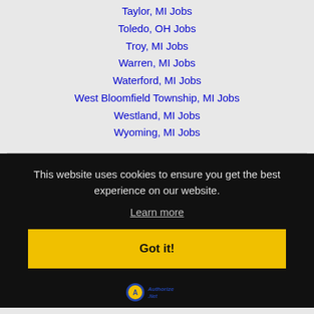Taylor, MI Jobs
Toledo, OH Jobs
Troy, MI Jobs
Warren, MI Jobs
Waterford, MI Jobs
West Bloomfield Township, MI Jobs
Westland, MI Jobs
Wyoming, MI Jobs
This website uses cookies to ensure you get the best experience on our website.
Learn more
Got it!
[Figure (logo): Authorize.Net logo]